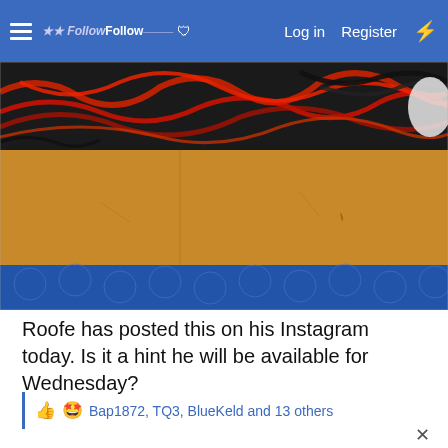FollowFollow — Log in  Register
[Figure (photo): Close-up photo showing tangled red and black cables/wires on top of a wooden shelf or surface, with blue bubble-wrap style material visible at the bottom.]
Roofe has posted this on his Instagram today. Is it a hint he will be available for Wednesday?
Bap1872, TQ3, BlueKeld and 13 others